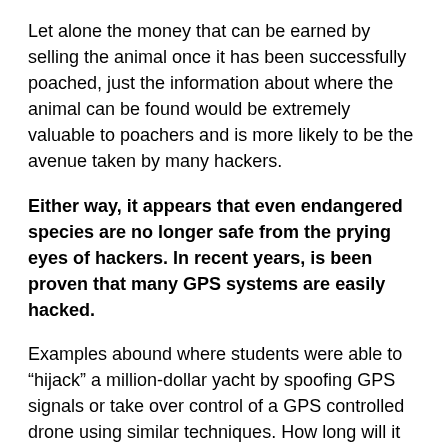Let alone the money that can be earned by selling the animal once it has been successfully poached, just the information about where the animal can be found would be extremely valuable to poachers and is more likely to be the avenue taken by many hackers.
Either way, it appears that even endangered species are no longer safe from the prying eyes of hackers. In recent years, is been proven that many GPS systems are easily hacked.
Examples abound where students were able to “hijack” a million-dollar yacht by spoofing GPS signals or take over control of a GPS controlled drone using similar techniques. How long will it be before animals with GPS collars are prime targets for criminals who care more about earning money than the health and existence of an entire species? Hopefully, this event serves as a lesson to conservationists about the importance of proper IT security at their research facilities to protect these precious animals from extinction.